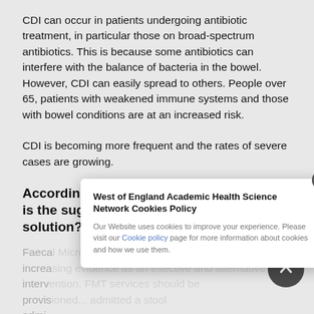CDI can occur in patients undergoing antibiotic treatment, in particular those on broad-spectrum antibiotics. This is because some antibiotics can interfere with the balance of bacteria in the bowel. However, CDI can easily spread to others. People over 65, patients with weakened immune systems and those with bowel conditions are at an increased risk.
CDI is becoming more frequent and the rates of severe cases are growing.
According to the available evidence, what is the suggested solution?
Faecal... ng increa... an effective and... interv... providing a standard atte... provis... admitted a stool admi...
West of England Academic Health Science Network Cookies Policy

Our Website uses cookies to improve your experience. Please visit our Cookie policy page for more information about cookies and how we use them.